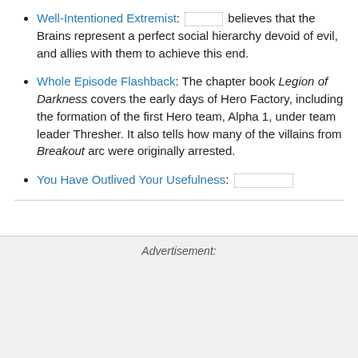Well-Intentioned Extremist: [redacted] believes that the Brains represent a perfect social hierarchy devoid of evil, and allies with them to achieve this end.
Whole Episode Flashback: The chapter book Legion of Darkness covers the early days of Hero Factory, including the formation of the first Hero team, Alpha 1, under team leader Thresher. It also tells how many of the villains from Breakout arc were originally arrested.
You Have Outlived Your Usefulness: [redacted]
Advertisement: